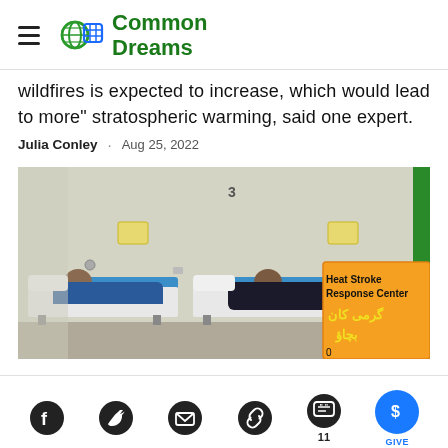Common Dreams
wildfires is expected to increase, which would lead to more" stratospheric warming, said one expert.
Julia Conley · Aug 25, 2022
[Figure (photo): Two patients lying on hospital beds in a room with a 'Heat Stroke Response Center' banner visible on the right side, with Urdu text below.]
Social share icons: Facebook, Twitter, Email, Link, Comments (11), Give